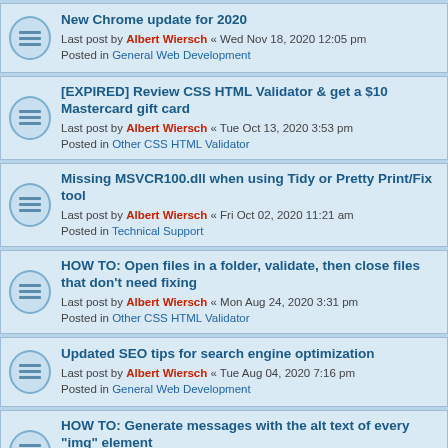New Chrome update for 2020
Last post by Albert Wiersch « Wed Nov 18, 2020 12:05 pm
Posted in General Web Development
[EXPIRED] Review CSS HTML Validator & get a $10 Mastercard gift card
Last post by Albert Wiersch « Tue Oct 13, 2020 3:53 pm
Posted in Other CSS HTML Validator
Missing MSVCR100.dll when using Tidy or Pretty Print/Fix tool
Last post by Albert Wiersch « Fri Oct 02, 2020 11:21 am
Posted in Technical Support
HOW TO: Open files in a folder, validate, then close files that don't need fixing
Last post by Albert Wiersch « Mon Aug 24, 2020 3:31 pm
Posted in Other CSS HTML Validator
Updated SEO tips for search engine optimization
Last post by Albert Wiersch « Tue Aug 04, 2020 7:16 pm
Posted in General Web Development
HOW TO: Generate messages with the alt text of every "img" element
Last post by Albert Wiersch « Sun Aug 02, 2020 7:08 pm
Posted in Other CSS HTML Validator
Want to try CSS HTML Validator 2021/v21 BETA?
Last post by Albert Wiersch « Fri Jul 31, 2020 3:46 pm
Posted in Feature Requests and BETA Talk